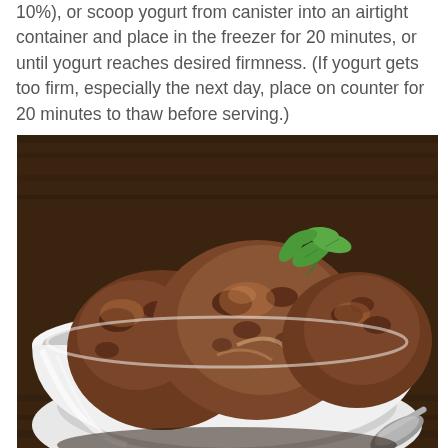10%), or scoop yogurt from canister into an airtight container and place in the freezer for 20 minutes, or until yogurt reaches desired firmness. (If yogurt gets too firm, especially the next day, place on counter for 20 minutes to thaw before serving.)
[Figure (photo): A white bowl filled with three scoops of chocolate frozen yogurt (or ice cream) topped with a fresh mint sprig, placed on a dark wooden surface with a metal spoon beside the bowl.]